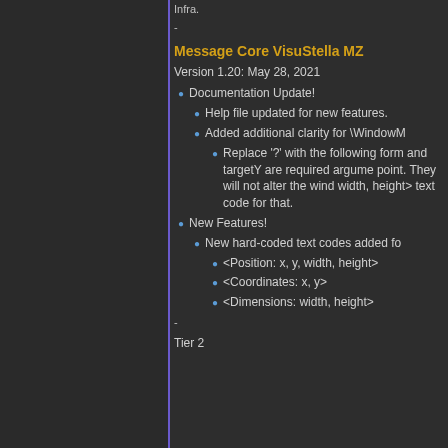Infra.
-
Message Core VisuStella MZ
Version 1.20: May 28, 2021
Documentation Update!
Help file updated for new features.
Added additional clarity for \WindowM
Replace '?' with the following form and targetY are required argume point. They will not alter the wind width, height> text code for that.
New Features!
New hard-coded text codes added fo
<Position: x, y, width, height>
<Coordinates: x, y>
<Dimensions: width, height>
-
Tier 2